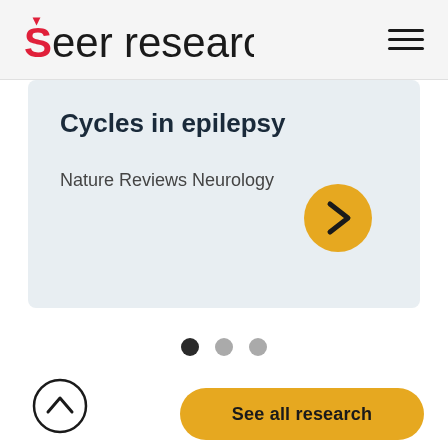Seer research
Cycles in epilepsy
Nature Reviews Neurology
[Figure (other): Navigation next arrow button in orange/yellow circle]
[Figure (other): Carousel pagination dots: three dots, first one active (dark), two inactive (grey)]
[Figure (other): Up arrow button in circle outline]
See all research